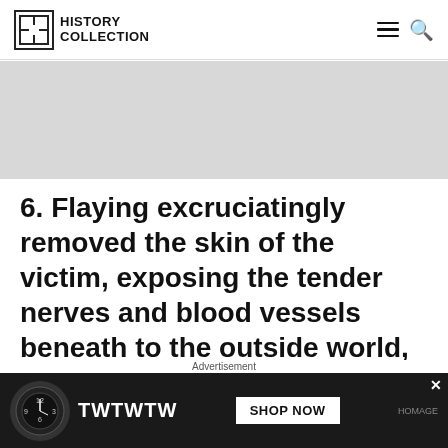History Collection
[Figure (other): Gray advertisement banner placeholder]
6. Flaying excruciatingly removed the skin of the victim, exposing the tender nerves and blood vessels beneath to the outside world, leading to immense pain and probable death by infection.
Flaying also known as skinning is a method of...
[Figure (other): Advertisement banner showing TWTWTW watch shop now button]